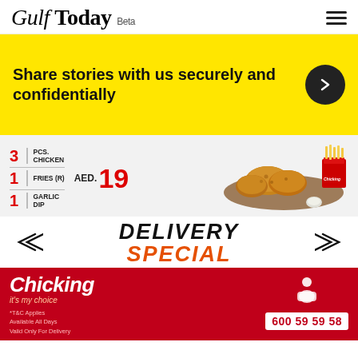Gulf Today Beta
Share stories with us securely and confidentially
[Figure (infographic): Chicking fast food delivery special ad showing 3 pcs chicken, 1 fries (R), 1 garlic dip for AED 19, with food photography of fried chicken and fries]
DELIVERY SPECIAL
[Figure (infographic): Chicking brand logo in white on red background with tagline 'it's my choice', T&C applies, Available All Days, Valid Only For Delivery, phone number 600 59 59 58]